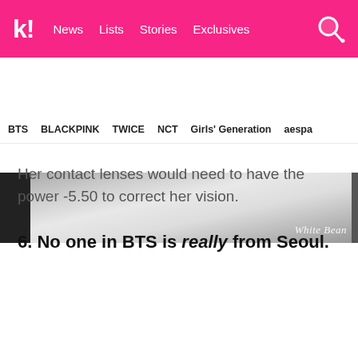k! News  Lists  Stories  Exclusives
BTS  BLACKPINK  TWICE  NCT  Girls' Generation  aespa
[Figure (photo): Cropped image of what appears to be a white garment/fabric with 'White Bean' watermark in the bottom right]
Her contact lenses would need to have the power -5.50 to correct her vision.
6. No one in BTS is really from Seoul.
[Figure (photo): I·SEOUL·U promotional image with 'LET'S CREATE SEOUL' text overlay, Seoul tower visible on the left, Seoul Tourism Organization logo in top right]